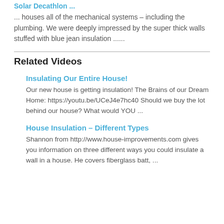Solar Decathlon ...
... houses all of the mechanical systems – including the plumbing. We were deeply impressed by the super thick walls stuffed with blue jean insulation ......
Related Videos
Insulating Our Entire House!
Our new house is getting insulation! The Brains of our Dream Home: https://youtu.be/UCeJ4e7hc40 Should we buy the lot behind our house? What would YOU ...
House Insulation – Different Types
Shannon from http://www.house-improvements.com gives you information on three different ways you could insulate a wall in a house. He covers fiberglass batt, ...